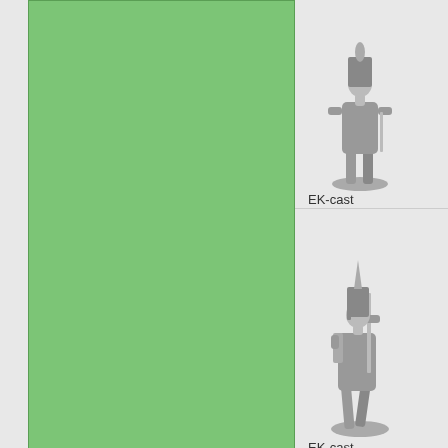[Figure (illustration): Green rectangular box, likely a product image placeholder or advertisement banner]
[Figure (photo): Metal figurine of a standing soldier in historical uniform, EK-cast product]
EK-cast
[Figure (photo): Metal figurine of a marching soldier with rifle and pointed helmet, EK-cast product]
EK-cast
Displaying 1 to 50 (of 56 products)
Friday 02 September, 2022